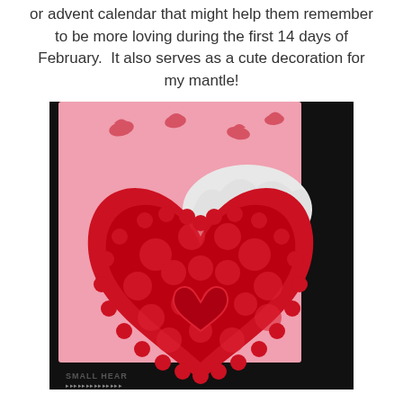or advent calendar that might help them remember to be more loving during the first 14 days of February.  It also serves as a cute decoration for my mantle!
[Figure (photo): A photograph of red heart-shaped lace doilies stacked on a pink background with red bird silhouettes. A white doily is partially visible behind the red ones. Text at the bottom left reads 'SMALL HEAR'. The doilies have intricate floral lace patterns and a small heart motif in the center.]